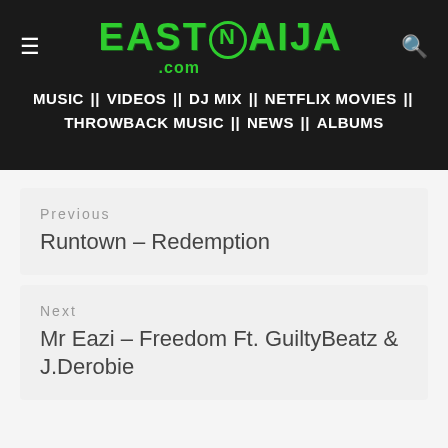EASTNAIJA.com - MUSIC || VIDEOS || DJ MIX || NETFLIX MOVIES || THROWBACK MUSIC || NEWS || ALBUMS
Previous
Runtown – Redemption
Next
Mr Eazi – Freedom Ft. GuiltyBeatz & J.Derobie